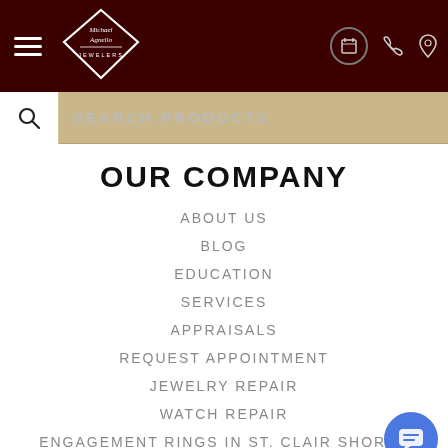Michael Agnello Jewelers — navigation header with logo, hamburger menu, calendar icon, phone icon, location icon
SEARCH PRODUCTS
OUR COMPANY
ABOUT US
BLOG
EDUCATION
SERVICES
APPRAISALS
REQUEST APPOINTMENT
JEWELRY REPAIR
WATCH REPAIR
ENGAGEMENT RINGS IN ST. CLAIR SHORES